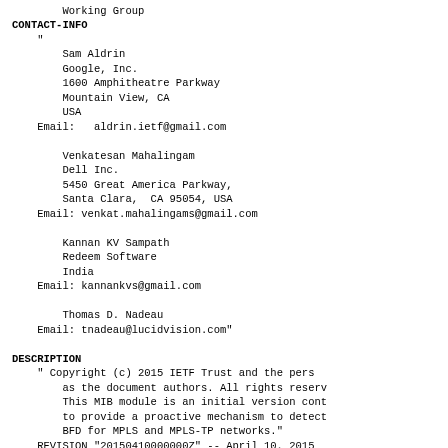Working Group
CONTACT-INFO
    "
        Sam Aldrin
        Google, Inc.
        1600 Amphitheatre Parkway
        Mountain View, CA
        USA
    Email:   aldrin.ietf@gmail.com

        Venkatesan Mahalingam
        Dell Inc.
        5450 Great America Parkway,
        Santa Clara,  CA 95054, USA
    Email: venkat.mahalingams@gmail.com

        Kannan KV Sampath
        Redeem Software
        India
    Email: kannankvs@gmail.com

        Thomas D. Nadeau
    Email: tnadeau@lucidvision.com"

DESCRIPTION
    " Copyright (c) 2015 IETF Trust and the pers
        as the document authors. All rights reserv
        This MIB module is an initial version cont
        to provide a proactive mechanism to detect
        BFD for MPLS and MPLS-TP networks."
    REVISION "20150410000000Z" -- April 10, 2015